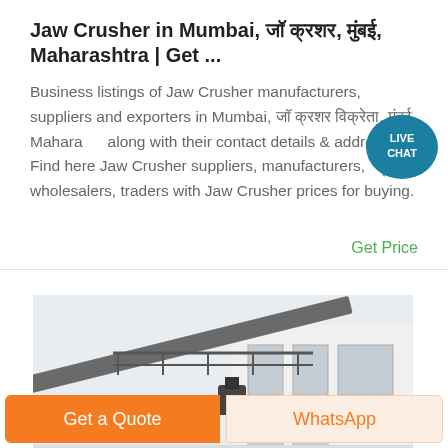Jaw Crusher in Mumbai, जॉ क्रशर, मुंबई, Maharashtra | Get ...
Business listings of Jaw Crusher manufacturers, suppliers and exporters in Mumbai, जॉ क्रशर विक्रेता, मुंबई, Maharashtra along with their contact details & address. Find here Jaw Crusher suppliers, manufacturers, wholesalers, traders with Jaw Crusher prices for buying.
Get Price
[Figure (photo): Industrial conveyor or crusher equipment on a building rooftop, showing metal railing and industrial machinery.]
Get a Quote
WhatsApp